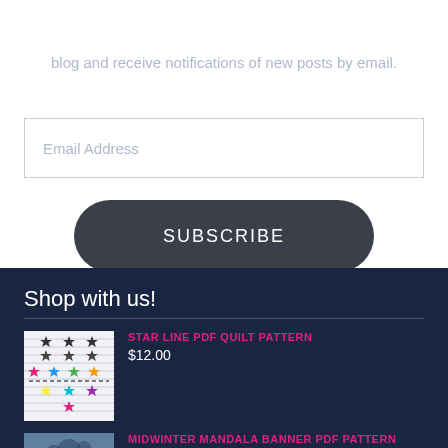blog and receive notifications of new posts by email.
Email Address
SUBSCRIBE
Shop with us!
STAR LINE PDF QUILT PATTERN
$12.00
[Figure (illustration): Quilt pattern thumbnail showing rows of colorful star shapes on a light striped background]
MIDWINTER MANDALA BANNER PDF PATTERN